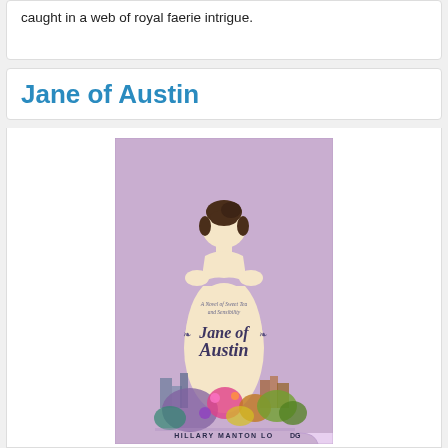caught in a web of royal faerie intrigue.
Jane of Austin
[Figure (illustration): Book cover for 'Jane of Austin' by Hillary Manton Lodge. Features a woman seen from behind with dark hair up, wearing a low-back dress, set against a lavender/purple background. The lower portion shows colorful watercolor flowers and a stylized city skyline. Text on cover reads 'A Novel of Sweet Tea and Sensibility', 'Jane of Austin', and 'Hillary Manton Lodge'.]